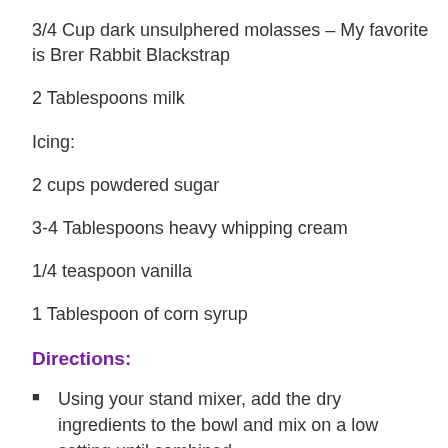3/4 Cup dark unsulphered molasses – My favorite is Brer Rabbit Blackstrap
2 Tablespoons milk
Icing:
2 cups powdered sugar
3-4 Tablespoons heavy whipping cream
1/4 teaspoon vanilla
1 Tablespoon of corn syrup
Directions:
Using your stand mixer, add the dry ingredients to the bowl and mix on a low setting until combined.